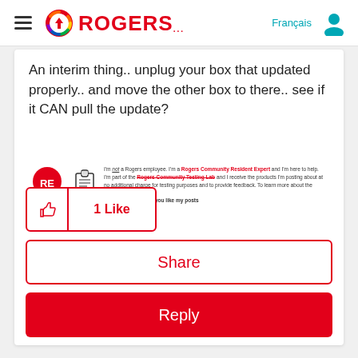Rogers Community - Header with hamburger menu, Rogers logo, Français link, and user icon
An interim thing.. unplug your box that updated properly.. and move the other box to there.. see if it CAN pull the update?
[Figure (other): Rogers Community Resident Expert signature badge with RE icon, clipboard icon, and disclaimer text about being a Rogers Community Resident Expert and Rogers Community Testing Lab member]
1 Like
Share
Reply